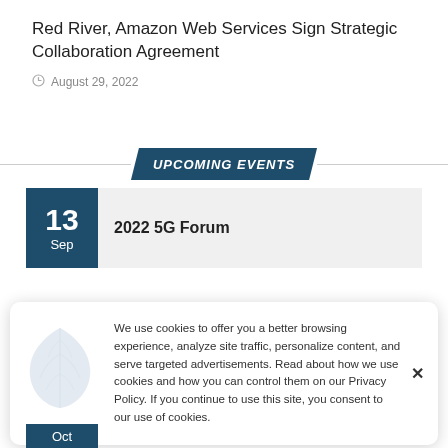Red River, Amazon Web Services Sign Strategic Collaboration Agreement
August 29, 2022
UPCOMING EVENTS
13 Sep — 2022 5G Forum
We use cookies to offer you a better browsing experience, analyze site traffic, personalize content, and serve targeted advertisements. Read about how we use cookies and how you can control them on our Privacy Policy. If you continue to use this site, you consent to our use of cookies.
Oct